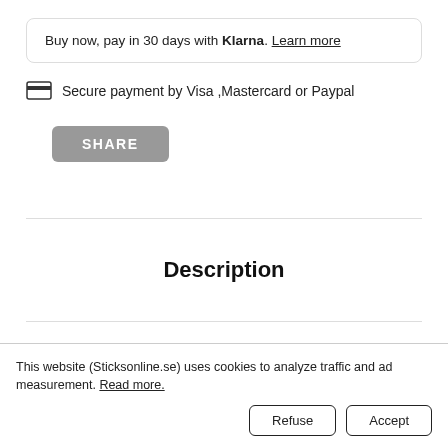Buy now, pay in 30 days with Klarna. Learn more
Secure payment by Visa ,Mastercard or Paypal
SHARE
Description
This website (Sticksonline.se) uses cookies to analyze traffic and ad measurement. Read more.